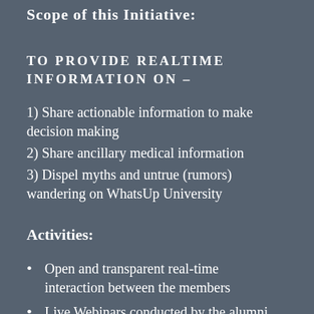Scope of this Initiative:
TO PROVIDE REALTIME INFORMATION ON –
1) Share actionable information to make decision making
2) Share ancillary medical information
3) Dispel myths and untrue (rumors) wandering on WhatsUp University
Activities:
Open and transparent real-time interaction between the members
Live Webinars conducted by the alumni